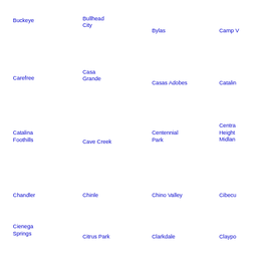Buckeye
Bullhead City
Bylas
Camp V
Carefree
Casa Grande
Casas Adobes
Catalin
Catalina Foothills
Cave Creek
Centennial Park
Centra Heights Midlan
Chandler
Chinle
Chino Valley
Cibecu
Cienega Springs
Citrus Park
Clarkdale
Claypo